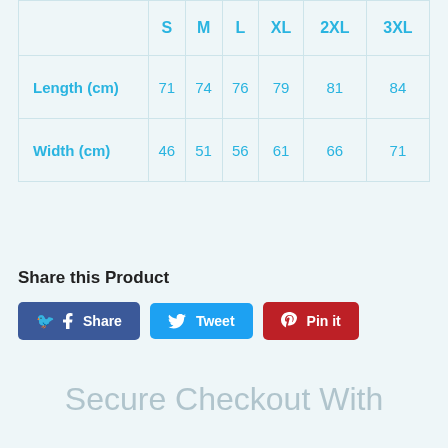|  | S | M | L | XL | 2XL | 3XL |
| --- | --- | --- | --- | --- | --- | --- |
| Length (cm) | 71 | 74 | 76 | 79 | 81 | 84 |
| Width (cm) | 46 | 51 | 56 | 61 | 66 | 71 |
Share this Product
Share  Tweet  Pin it
Secure Checkout With